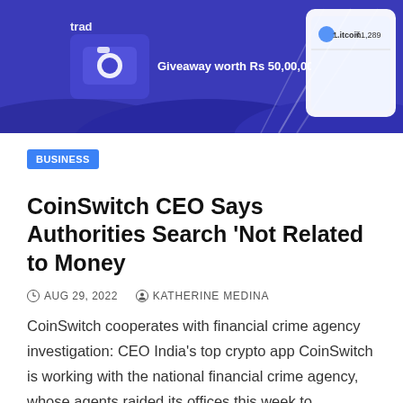[Figure (screenshot): Blue promotional banner for a crypto trading app showing a camera icon, text 'trad', 'Giveaway worth Rs 50,00,000', and a phone mockup displaying a Bitcoin wallet interface on the right side.]
BUSINESS
CoinSwitch CEO Says Authorities Search ‘Not Related to Money
AUG 29, 2022   KATHERINE MEDINA
CoinSwitch cooperates with financial crime agency investigation: CEO India's top crypto app CoinSwitch is working with the national financial crime agency, whose agents raided its offices this week to understand…